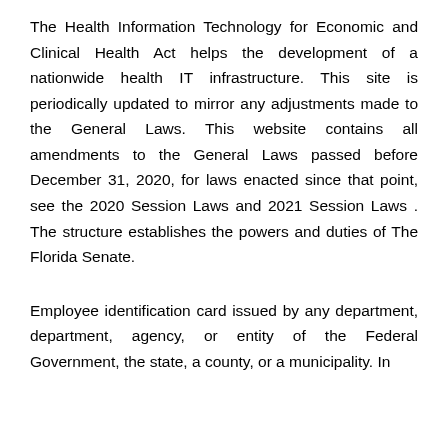The Health Information Technology for Economic and Clinical Health Act helps the development of a nationwide health IT infrastructure. This site is periodically updated to mirror any adjustments made to the General Laws. This website contains all amendments to the General Laws passed before December 31, 2020, for laws enacted since that point, see the 2020 Session Laws and 2021 Session Laws . The structure establishes the powers and duties of The Florida Senate.
Employee identification card issued by any department, department, agency, or entity of the Federal Government, the state, a county, or a municipality. In